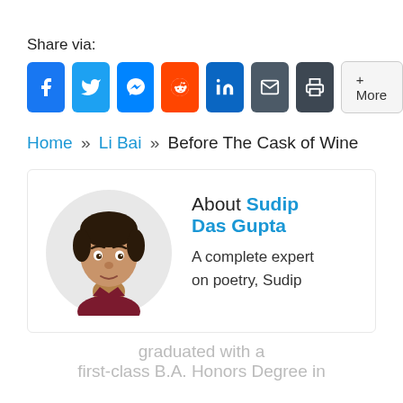Share via:
[Figure (infographic): Social share buttons: Facebook, Twitter, Messenger, Reddit, LinkedIn, Email, Print, and More]
Home » Li Bai » Before The Cask of Wine
[Figure (illustration): Cartoon avatar of Sudip Das Gupta — a young man with dark hair, brown skin, wearing a dark maroon top]
About Sudip Das Gupta
A complete expert on poetry, Sudip graduated with a first-class B.A. Honors Degree in